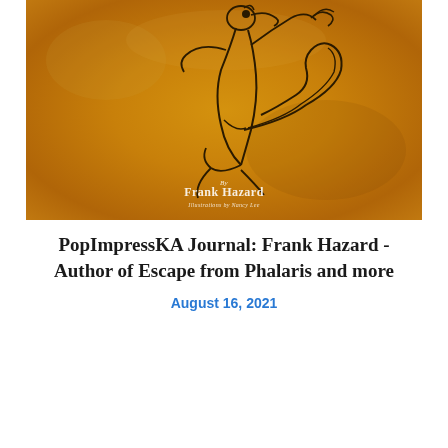[Figure (illustration): Book cover with golden/amber textured background featuring a line drawing of a squirrel in a dynamic pose, with text 'By Frank Hazard' and 'Illustrations by Nancy Lee']
PopImpressKA Journal: Frank Hazard - Author of Escape from Phalaris and more
August 16, 2021